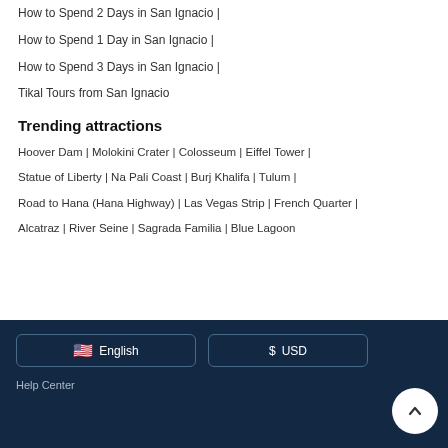How to Spend 2 Days in San Ignacio |
How to Spend 1 Day in San Ignacio |
How to Spend 3 Days in San Ignacio |
Tikal Tours from San Ignacio
Trending attractions
Hoover Dam | Molokini Crater | Colosseum | Eiffel Tower |
Statue of Liberty | Na Pali Coast | Burj Khalifa | Tulum |
Road to Hana (Hana Highway) | Las Vegas Strip | French Quarter |
Alcatraz | River Seine | Sagrada Familia | Blue Lagoon
English  $  USD  Help Center